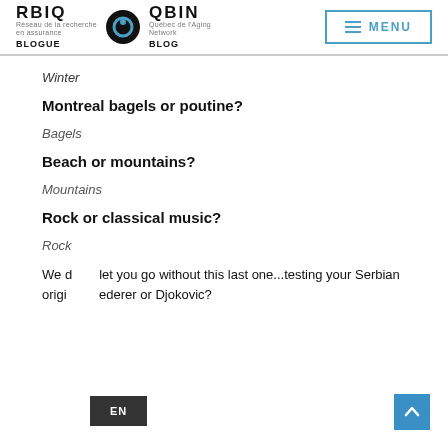RBIQ BLOGUE / QBIN BLOG | MENU
Winter
Montreal bagels or poutine?
Bagels
Beach or mountains?
Mountains
Rock or classical music?
Rock
We didn't let you go without this last one...testing your Serbian origins...Federer or Djokovic?